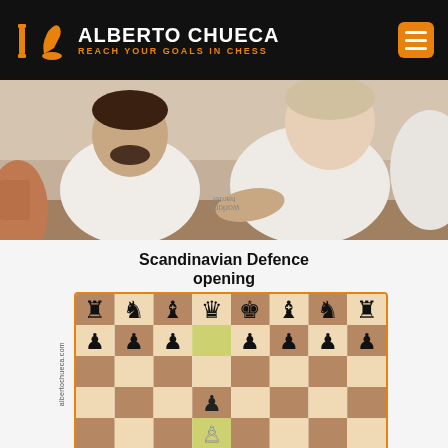ALBERTO CHUECA — REACH YOUR GOALS IN CHESS
[Figure (photo): Two people sitting at a chess table, wearing white t-shirts, one with upside-down text 'working harder']
[Figure (other): Scandinavian Defence opening chess board diagram showing initial position after 1.e4 d5 2.exd5, with watermark albertochueca.com]
Scandinavian Defence opening